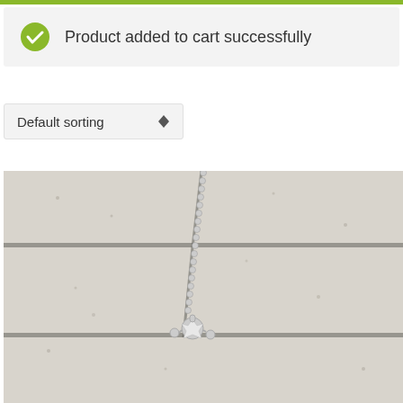Product added to cart successfully
Default sorting
[Figure (photo): Close-up photo of a silver necklace chain with a diamond/crystal pendant hanging against a light-colored stone tile background with dark grout lines.]